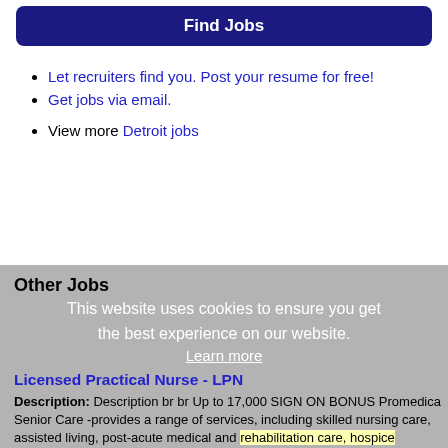Find Jobs
Let recruiters find you. Post your resume for free!
Get jobs via email.
View more Detroit jobs
Other Jobs
This website uses cookies to ensure you get the best experience on our website. Learn more
Licensed Practical Nurse - LPN
Description: Description br br Up to 17,000 SIGN ON BONUS Promedica Senior Care -provides a range of services, including skilled nursing care, assisted living, post-acute medical and rehabilitation care, hospice (more...)
Company: ProMedica Senior Care
Location: Mentor